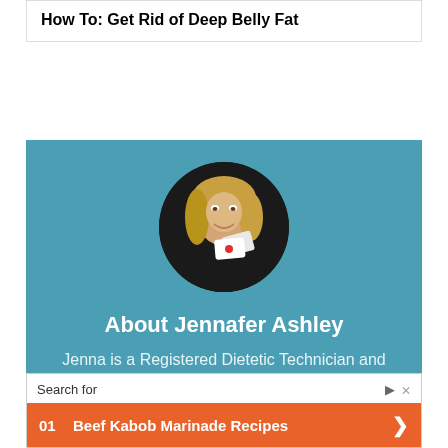How To: Get Rid of Deep Belly Fat
[Figure (photo): Circular portrait photo of Jennafer Ashley, a blonde woman holding cards, on a teal background author card]
About Jennafer Ashley
Jenna is a Registered Dietetic Technician and recipe developer
[Figure (screenshot): Search advertisement overlay: Search for 01 Beef Kabob Marinade Recipes with orange button and arrow]